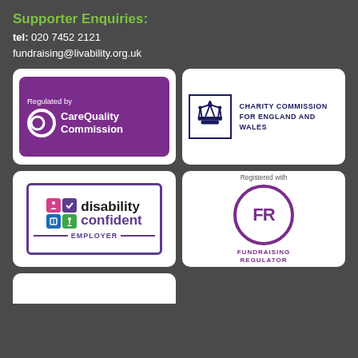Supporter Enquiries:
tel: 020 7452 2121
fundraising@livability.org.uk
[Figure (logo): Care Quality Commission logo - Regulated by CareQuality Commission on purple background]
[Figure (logo): Charity Commission for England and Wales logo with crown icon]
[Figure (logo): Disability Confident Employer logo with coloured icon grid]
[Figure (logo): Fundraising Regulator logo - Registered with FR circle badge]
[Figure (logo): Partial white card at bottom left, cut off]